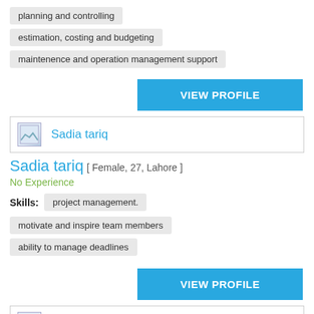planning and controlling
estimation, costing and budgeting
maintenence and operation management support
VIEW PROFILE
[Figure (other): Profile header with placeholder image and name: Sadia tariq]
Sadia tariq [ Female, 27, Lahore ]
No Experience
Skills: project management.
motivate and inspire team members
ability to manage deadlines
VIEW PROFILE
[Figure (other): Profile header with placeholder image and name: Faizan Afzal]
Faizan Afzal [ Male, 25, Lahore ]
No Experience
Skills: marketing assessment   convincing power